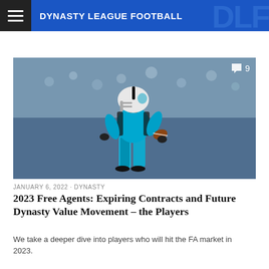DYNASTY LEAGUE FOOTBALL
[Figure (photo): NFL player in Carolina Panthers blue uniform running with football, crowd in background, comment badge showing 9]
JANUARY 6, 2022 · DYNASTY
2023 Free Agents: Expiring Contracts and Future Dynasty Value Movement – the Players
We take a deeper dive into players who will hit the FA market in 2023.